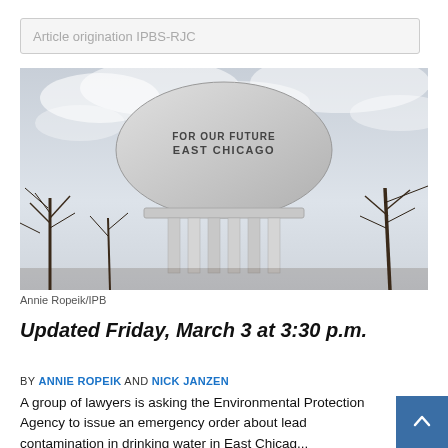Article origination IPBS-RJC
[Figure (photo): Water tower with text 'FOR OUR FUTURE EAST CHICAGO' on the dome, surrounded by bare winter trees against a cloudy sky]
Annie Ropeik/IPB
Updated Friday, March 3 at 3:30 p.m.
BY ANNIE ROPEIK AND NICK JANZEN
A group of lawyers is asking the Environmental Protection Agency to issue an emergency order about lead contamination in drinking water in East Chicago, Indi...